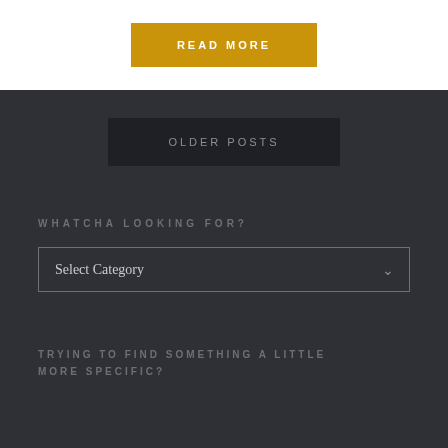READ MORE
OLDER POSTS
WHATCHA LOOKING FOR?
Select Category
TRYING TO FIND SOMETHING A LITTLE MORE SPECIFIC?